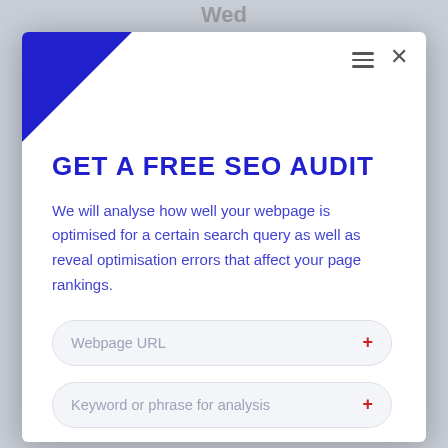[Figure (screenshot): Background calendar app showing Wed, 24th August 2022, 25th August 2022, Thu, Fri, Sat dates in light grey]
GET A FREE SEO AUDIT
We will analyse how well your webpage is optimised for a certain search query as well as reveal optimisation errors that affect your page rankings.
Webpage URL
Keyword or phrase for analysis
Contact email